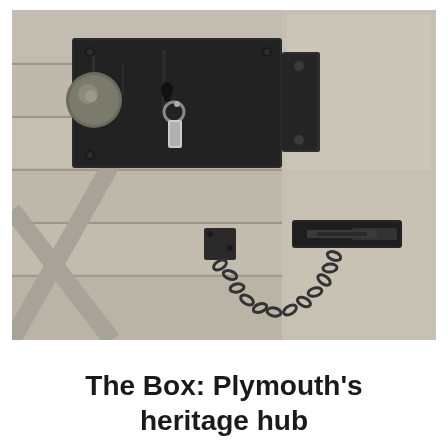[Figure (photo): Close-up photograph of an old wooden door with black iron hardware: a large rectangular rim lock with a round metal knob and a small key hanging from it, plus a chain door guard/latch below, all mounted on a painted wood-panel door.]
The Box: Plymouth's heritage hub